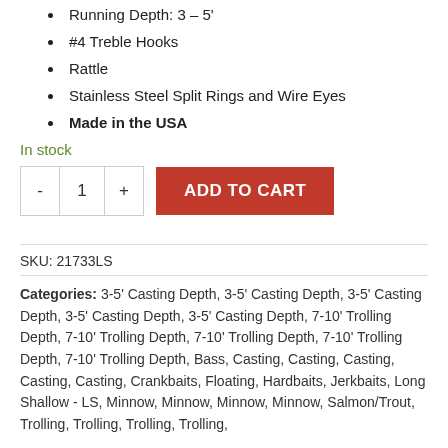Running Depth: 3 – 5'
#4 Treble Hooks
Rattle
Stainless Steel Split Rings and Wire Eyes
Made in the USA
In stock
- 1 + ADD TO CART
SKU: 21733LS
Categories: 3-5' Casting Depth, 3-5' Casting Depth, 3-5' Casting Depth, 3-5' Casting Depth, 3-5' Casting Depth, 7-10' Trolling Depth, 7-10' Trolling Depth, 7-10' Trolling Depth, 7-10' Trolling Depth, 7-10' Trolling Depth, Bass, Casting, Casting, Casting, Casting, Casting, Crankbaits, Floating, Hardbaits, Jerkbaits, Long Shallow - LS, Minnow, Minnow, Minnow, Minnow, Salmon/Trout, Trolling, Trolling, Trolling, Trolling,